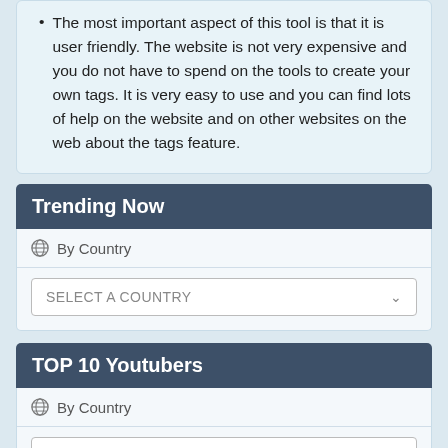The most important aspect of this tool is that it is user friendly. The website is not very expensive and you do not have to spend on the tools to create your own tags. It is very easy to use and you can find lots of help on the website and on other websites on the web about the tags feature.
Trending Now
By Country
SELECT A COUNTRY
TOP 10 Youtubers
By Country
SELECT A COUNTRY